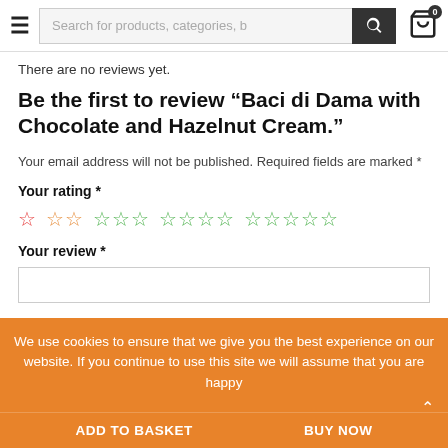Search for products, categories, b
There are no reviews yet.
Be the first to review “Baci di Dama with Chocolate and Hazelnut Cream.”
Your email address will not be published. Required fields are marked *
Your rating *
[Figure (other): Star rating selector with 5 groups of stars (1, 2, 3, 4, 5 stars) in pink/orange/green colors]
Your review *
We use cookies to ensure that we give you the best experience on our website. If you continue to use this site we will assume that you are happy
ADD TO BASKET   BUY NOW